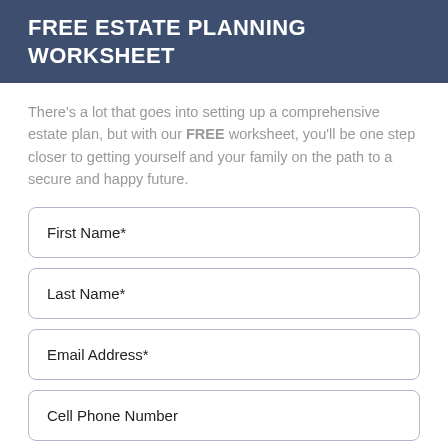FREE ESTATE PLANNING WORKSHEET
There's a lot that goes into setting up a comprehensive estate plan, but with our FREE worksheet, you'll be one step closer to getting yourself and your family on the path to a secure and happy future.
First Name*
Last Name*
Email Address*
Cell Phone Number
I agree to receive texts at the number